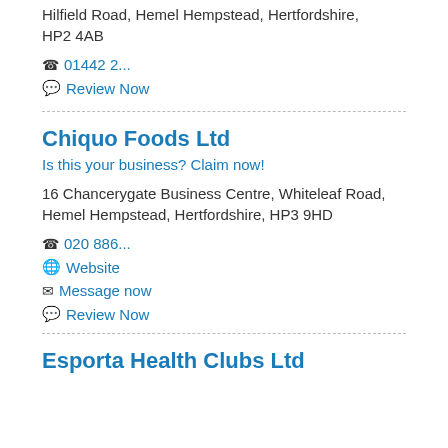Hilfield Road, Hemel Hempstead, Hertfordshire, HP2 4AB
📞 01442 2...
💬 Review Now
Chiquo Foods Ltd
Is this your business? Claim now!
16 Chancerygate Business Centre, Whiteleaf Road, Hemel Hempstead, Hertfordshire, HP3 9HD
📞 020 886...
🌐 Website
✉ Message now
💬 Review Now
Esporta Health Clubs Ltd